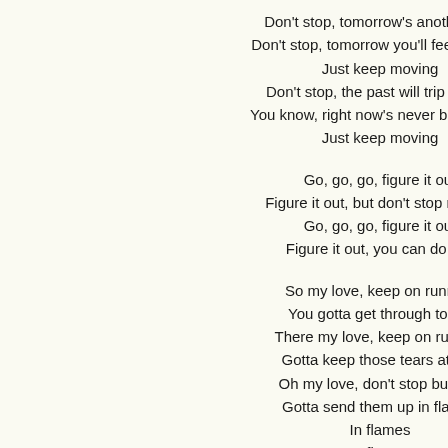Don't stop, tomorrow's another day
Don't stop, tomorrow you'll feel no pain
Just keep moving
Don't stop, the past will trip you up
You know, right now's never be enough
Just keep moving
Go, go, go, figure it out
Figure it out, but don't stop moving
Go, go, go, figure it out
Figure it out, you can do this
So my love, keep on running
You gotta get through today
There my love, keep on running
Gotta keep those tears at bay
Oh my love, don't stop burning
Gotta send them up in flames
In flames
In flames
In flames
Go, go, go, figure it out
Figure it out, but don't stop moving
Go, go, go, figure it out
Figure it out, you can do this
So my love, keep on running
You gotta get through today
There my love, keep on running
Gotta keep those tears at bay
Oh my love, don't stop burning